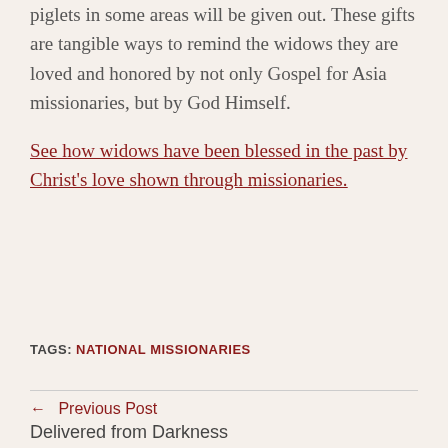piglets in some areas will be given out. These gifts are tangible ways to remind the widows they are loved and honored by not only Gospel for Asia missionaries, but by God Himself.
See how widows have been blessed in the past by Christ's love shown through missionaries.
TAGS: NATIONAL MISSIONARIES
← Previous Post
Delivered from Darkness
Next Post →
Widow Embraces Christ's Love